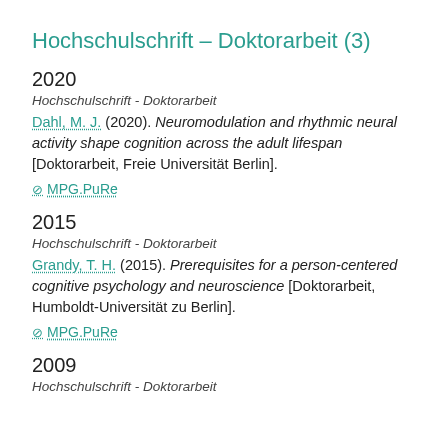Hochschulschrift – Doktorarbeit (3)
2020
Hochschrift - Doktorarbeit
Dahl, M. J. (2020). Neuromodulation and rhythmic neural activity shape cognition across the adult lifespan [Doktorarbeit, Freie Universität Berlin].
⊘ MPG.PuRe
2015
Hochschrift - Doktorarbeit
Grandy, T. H. (2015). Prerequisites for a person-centered cognitive psychology and neuroscience [Doktorarbeit, Humboldt-Universität zu Berlin].
⊘ MPG.PuRe
2009
Hochschulschrift - Doktorarbeit